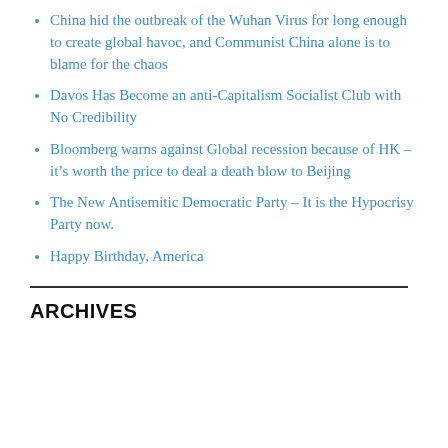China hid the outbreak of the Wuhan Virus for long enough to create global havoc, and Communist China alone is to blame for the chaos
Davos Has Become an anti-Capitalism Socialist Club with No Credibility
Bloomberg warns against Global recession because of HK – it’s worth the price to deal a death blow to Beijing
The New Antisemitic Democratic Party – It is the Hypocrisy Party now.
Happy Birthday, America
ARCHIVES